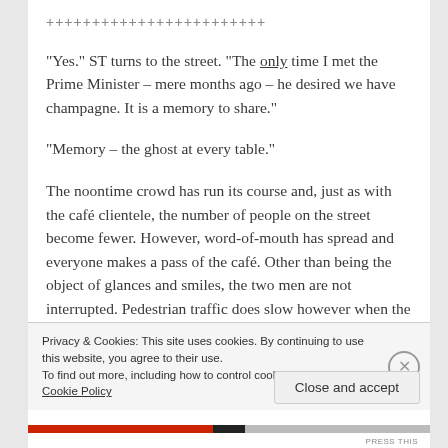++++++++++++++++++++++++
“Yes.” ST turns to the street. “The only time I met the Prime Minister – mere months ago – he desired we have champagne. It is a memory to share.”
“Memory – the ghost at every table.”
The noontime crowd has run its course and, just as with the café clientele, the number of people on the street become fewer. However, word-of-mouth has spread and everyone makes a pass of the café. Other than being the object of glances and smiles, the two men are not interrupted. Pedestrian traffic does slow however when the bottle of champagne arrives
Privacy & Cookies: This site uses cookies. By continuing to use this website, you agree to their use.
To find out more, including how to control cookies, see here: Cookie Policy
Close and accept